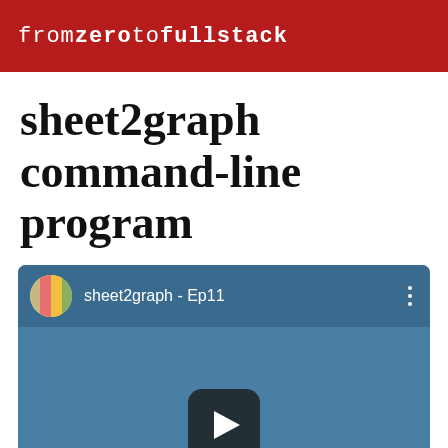fromzerotofullstack
sheet2graph command-line program
[Figure (screenshot): YouTube-style video thumbnail showing 'sheet2graph - Ep11' with channel icon, three-dot menu, play button, and subtitle text 'Reading a file from Google Drive' on a teal/blue background]